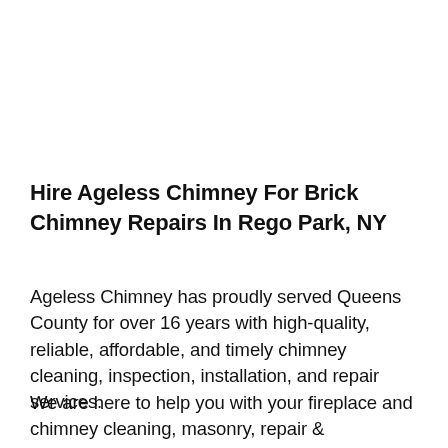Hire Ageless Chimney For Brick Chimney Repairs In Rego Park, NY
Ageless Chimney has proudly served Queens County for over 16 years with high-quality, reliable, affordable, and timely chimney cleaning, inspection, installation, and repair services.
We are here to help you with your fireplace and chimney cleaning, masonry, repair & replacement